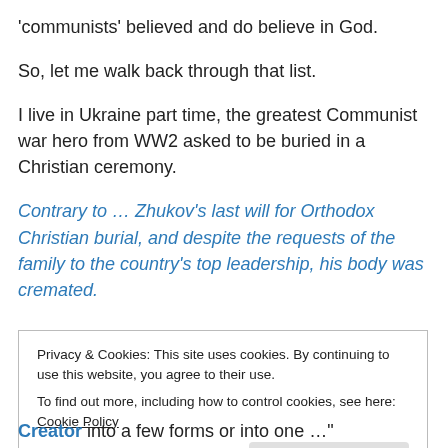'communists' believed and do believe in God.
So, let me walk back through that list.
I live in Ukraine part time, the greatest Communist war hero from WW2 asked to be buried in a Christian ceremony.
Contrary to … Zhukov's last will for Orthodox Christian burial, and despite the requests of the family to the country's top leadership, his body was cremated.
Privacy & Cookies: This site uses cookies. By continuing to use this website, you agree to their use.
To find out more, including how to control cookies, see here: Cookie Policy
Creator into a few forms or into one …"